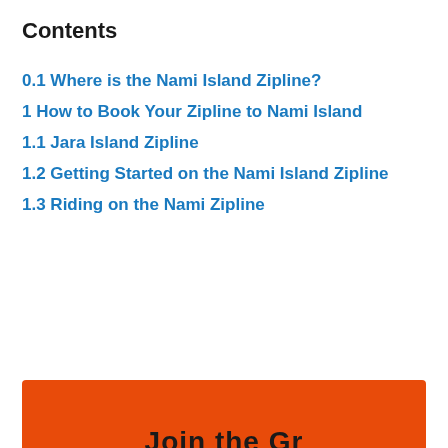Contents
0.1 Where is the Nami Island Zipline?
1 How to Book Your Zipline to Nami Island
1.1 Jara Island Zipline
1.2 Getting Started on the Nami Island Zipline
1.3 Riding on the Nami Zipline
[Figure (other): Orange banner at the bottom of the page with partial text visible]